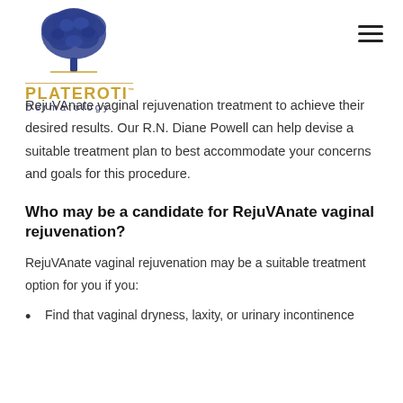Plateroti Dermatology — logo and navigation
RejuVAnate vaginal rejuvenation treatment to achieve their desired results. Our R.N. Diane Powell can help devise a suitable treatment plan to best accommodate your concerns and goals for this procedure.
Who may be a candidate for RejuVAnate vaginal rejuvenation?
RejuVAnate vaginal rejuvenation may be a suitable treatment option for you if you:
Find that vaginal dryness, laxity, or urinary incontinence